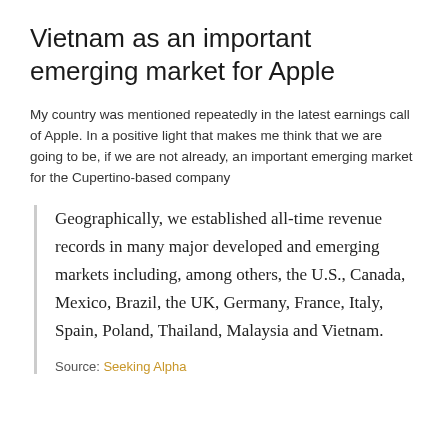Vietnam as an important emerging market for Apple
My country was mentioned repeatedly in the latest earnings call of Apple. In a positive light that makes me think that we are going to be, if we are not already, an important emerging market for the Cupertino-based company
Geographically, we established all-time revenue records in many major developed and emerging markets including, among others, the U.S., Canada, Mexico, Brazil, the UK, Germany, France, Italy, Spain, Poland, Thailand, Malaysia and Vietnam.
Source: Seeking Alpha